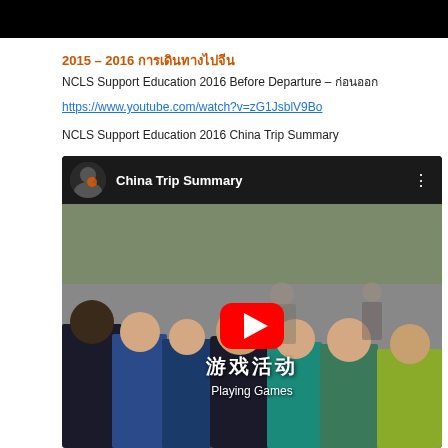[Figure (screenshot): Black bar at top of page, likely remnant of a video or header image]
2015 – 2016 การเดินทางไปจีน
NCLS Support Education 2016 Before Departure – ก่อนออก
https://www.youtube.com/watch?v=zG1JsblV9Bo
NCLS Support Education 2016 China Trip Summary
[Figure (screenshot): YouTube video embed showing China Trip Summary. A group of students outdoors playing games. Chinese text overlay reads 游戏运动 (Playing Games) with a YouTube play button in the center.]